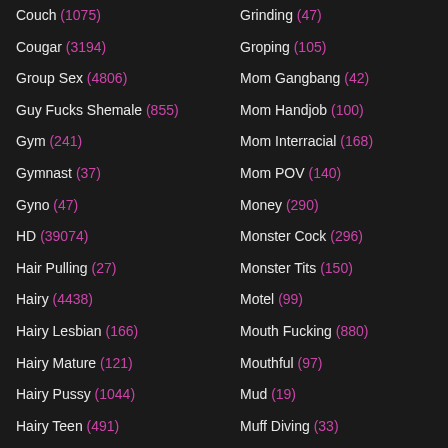Couch (1075)
Grinding (47)
Cougar (3194)
Groping (105)
Group Sex (4806)
Mom Gangbang (42)
Guy Fucks Shemale (855)
Mom Handjob (100)
Gym (241)
Mom Interracial (168)
Gymnast (37)
Mom POV (140)
Gyno (47)
Money (290)
HD (39074)
Monster Cock (296)
Hair Pulling (27)
Monster Tits (150)
Hairy (4438)
Motel (99)
Hairy Lesbian (166)
Mouth Fucking (880)
Hairy Mature (121)
Mouthful (97)
Hairy Pussy (1044)
Mud (19)
Hairy Teen (491)
Muff Diving (33)
Handcuffs (78)
Muscled (160)
Handjob (5610)
Music (400)